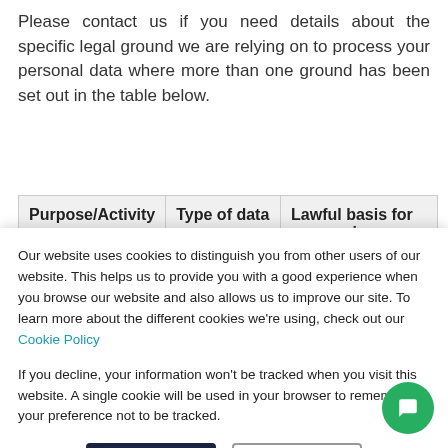Please contact us if you need details about the specific legal ground we are relying on to process your personal data where more than one ground has been set out in the table below.
| Purpose/Activity | Type of data | Lawful basis for processing including basis |
| --- | --- | --- |
Our website uses cookies to distinguish you from other users of our website. This helps us to provide you with a good experience when you browse our website and also allows us to improve our site. To learn more about the different cookies we're using, check out our Cookie Policy
If you decline, your information won't be tracked when you visit this website. A single cookie will be used in your browser to remember your preference not to be tracked.